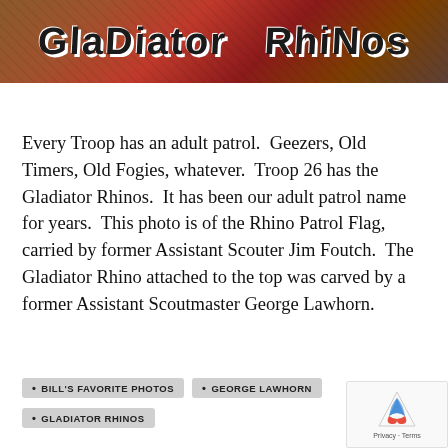[Figure (photo): Photo of a banner/sign reading 'Gladiator Rhinos' in stylized lettering on a red and brown background]
Every Troop has an adult patrol.  Geezers, Old Timers, Old Fogies, whatever.  Troop 26 has the Gladiator Rhinos.  It has been our adult patrol name for years.  This photo is of the Rhino Patrol Flag, carried by former Assistant Scouter Jim Foutch.  The Gladiator Rhino attached to the top was carved by a former Assistant Scoutmaster George Lawhorn.
BILL'S FAVORITE PHOTOS
GEORGE LAWHORN
GLADIATOR RHINOS